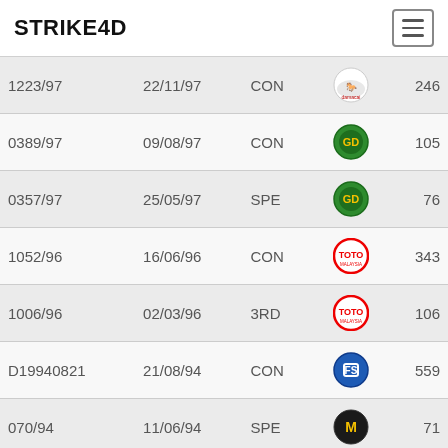STRIKE4D
| ID | Date | Type | Logo | Number |
| --- | --- | --- | --- | --- |
| 1223/97 | 22/11/97 | CON | (damacai logo) | 246 |
| 0389/97 | 09/08/97 | CON | (gd logo) | 105 |
| 0357/97 | 25/05/97 | SPE | (gd logo) | 76 |
| 1052/96 | 16/06/96 | CON | (toto logo) | 343 |
| 1006/96 | 02/03/96 | 3RD | (toto logo) | 106 |
| D19940821 | 21/08/94 | CON | (football logo) | 559 |
| 070/94 | 11/06/94 | SPE | (magnum logo) | 71 |